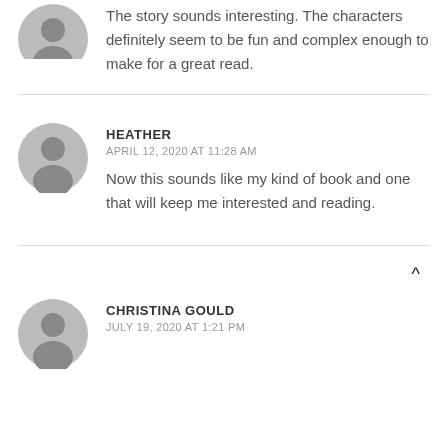[Figure (illustration): Grey placeholder avatar icon (partial, top of page)]
The story sounds interesting. The characters definitely seem to be fun and complex enough to make for a great read.
[Figure (illustration): Grey placeholder avatar icon for Heather]
HEATHER
APRIL 12, 2020 AT 11:28 AM
Now this sounds like my kind of book and one that will keep me interested and reading.
[Figure (illustration): Grey placeholder avatar icon for Christina Gould]
CHRISTINA GOULD
JULY 19, 2020 AT 1:21 PM